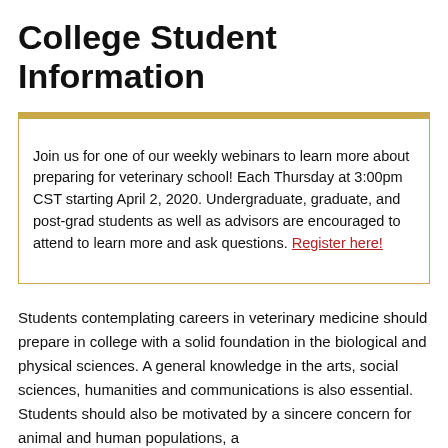College Student Information
Join us for one of our weekly webinars to learn more about preparing for veterinary school! Each Thursday at 3:00pm CST starting April 2, 2020. Undergraduate, graduate, and post-grad students as well as advisors are encouraged to attend to learn more and ask questions. Register here!
Students contemplating careers in veterinary medicine should prepare in college with a solid foundation in the biological and physical sciences. A general knowledge in the arts, social sciences, humanities and communications is also essential. Students should also be motivated by a sincere concern for animal and human populations, a